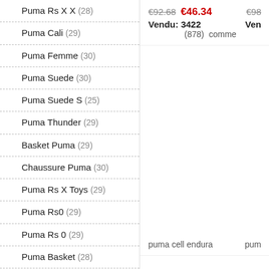Puma Rs X X (28)
Puma Cali (29)
Puma Femme (30)
Puma Suede (30)
Puma Suede S (25)
Puma Thunder (29)
Basket Puma (29)
Chaussure Puma (30)
Puma Rs X Toys (29)
Puma Rs0 (29)
Puma Rs 0 (29)
Puma Basket (28)
Puma Chaussure (30)
Puma Rs X Femme (29)
Puma Baskets (28)
Puma R S 0 (29)
€92.68  €46.34   €98
Vendu: 3422   Ven
(878)   comme
puma cell endura   pum
€99.50  €49.75   €10
Vendu: 6847   Ven
(1196)   comme